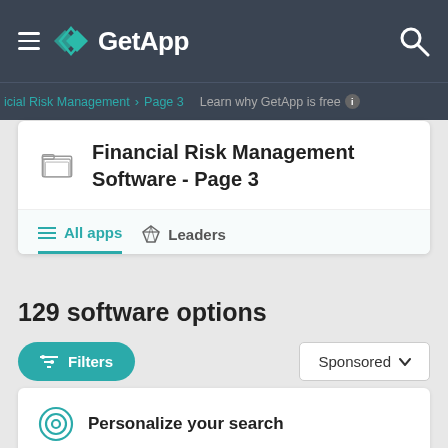GetApp
icial Risk Management > Page 3   Learn why GetApp is free ℹ
Financial Risk Management Software - Page 3
All apps   Leaders
129 software options
Filters   Sponsored
Personalize your search